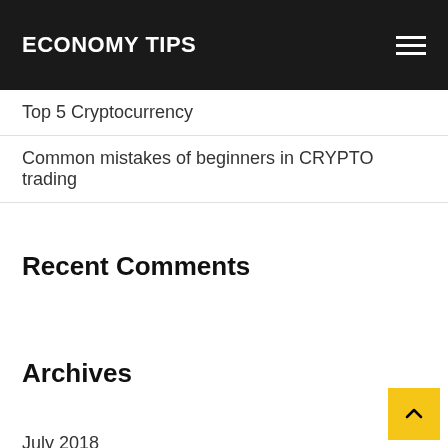ECONOMY TIPS
Top 5 Cryptocurrency
Common mistakes of beginners in CRYPTO trading
Recent Comments
Archives
July 2018
June 2018
November 2017